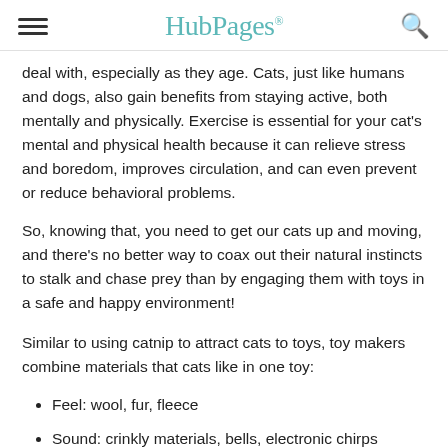HubPages
deal with, especially as they age. Cats, just like humans and dogs, also gain benefits from staying active, both mentally and physically. Exercise is essential for your cat's mental and physical health because it can relieve stress and boredom, improves circulation, and can even prevent or reduce behavioral problems.
So, knowing that, you need to get our cats up and moving, and there's no better way to coax out their natural instincts to stalk and chase prey than by engaging them with toys in a safe and happy environment!
Similar to using catnip to attract cats to toys, toy makers combine materials that cats like in one toy:
Feel: wool, fur, fleece
Sound: crinkly materials, bells, electronic chirps